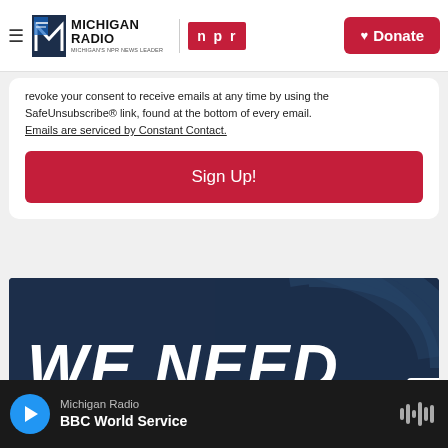Michigan Radio | NPR | Donate
revoke your consent to receive emails at any time by using the SafeUnsubscribe® link, found at the bottom of every email. Emails are serviced by Constant Contact.
Sign Up!
[Figure (photo): Dark navy blue banner with large bold white italic text reading 'WE NEED' and a decorative microphone arc design in the background]
Michigan Radio | BBC World Service